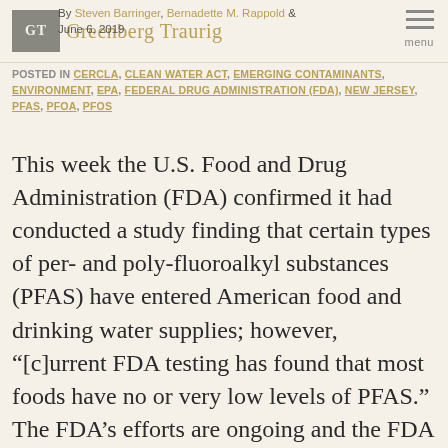GT | Greenberg Traurig
By Steven Barringer, Bernadette M. Rappold & | June 6, 2019
POSTED IN CERCLA, CLEAN WATER ACT, EMERGING CONTAMINANTS, ENVIRONMENT, EPA, FEDERAL DRUG ADMINISTRATION (FDA), NEW JERSEY, PFAS, PFOA, PFOS
This week the U.S. Food and Drug Administration (FDA) confirmed it had conducted a study finding that certain types of per- and poly-fluoroalkyl substances (PFAS) have entered American food and drinking water supplies; however, “[c]urrent FDA testing has found that most foods have no or very low levels of PFAS.” The FDA’s efforts are ongoing and the FDA launched a new website to summarize its efforts concerning PFAS.